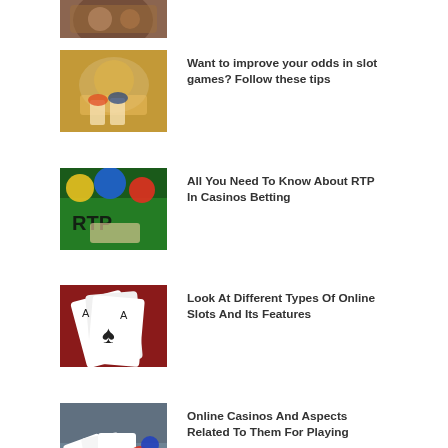[Figure (photo): Casino chips and roulette wheel, partial top image]
[Figure (photo): Hands holding casino chips and drinks]
Want to improve your odds in slot games? Follow these tips
[Figure (photo): RTP text on casino table with chips]
All You Need To Know About RTP In Casinos Betting
[Figure (photo): Playing cards (aces) on red background]
Look At Different Types Of Online Slots And Its Features
[Figure (photo): Hands holding playing cards with casino chips on table]
Online Casinos And Aspects Related To Them For Playing